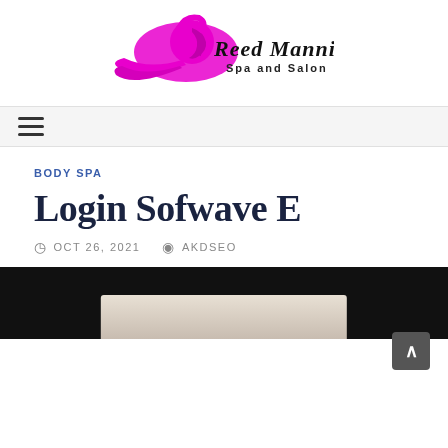[Figure (logo): Reed Manning Spa and Salon logo with magenta/pink female silhouette with flowing hair on left, and stylized script text 'Reed Manning' with 'Spa and Salon' in sans-serif below on right]
Navigation bar with hamburger menu icon
BODY SPA
Login Sofwave E
OCT 26, 2021  AKDSEO
[Figure (photo): Dark/black background image area with a lighter colored partial image visible at the bottom center]